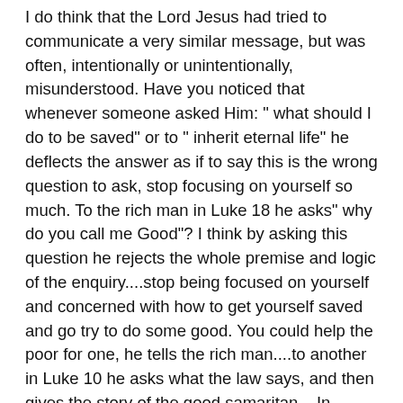I do think that the Lord Jesus had tried to communicate a very similar message, but was often, intentionally or unintentionally, misunderstood. Have you noticed that whenever someone asked Him: " what should I do to be saved" or to " inherit eternal life" he deflects the answer as if to say this is the wrong question to ask, stop focusing on yourself so much. To the rich man in Luke 18 he asks" why do you call me Good"? I think by asking this question he rejects the whole premise and logic of the enquiry....stop being focused on yourself and concerned with how to get yourself saved and go try to do some good. You could help the poor for one, he tells the rich man....to another in Luke 10 he asks what the law says, and then gives the story of the good samaritan... In essence every time anyone asks how to be saved, i get the message that Jesus is saying stop trying to find an Anchor, and go sail... He